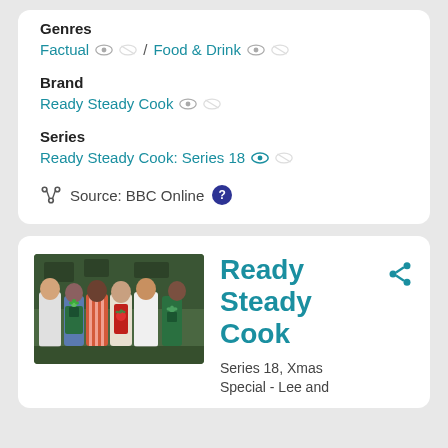Genres
Factual / Food & Drink
Brand
Ready Steady Cook
Series
Ready Steady Cook: Series 18
Source: BBC Online
[Figure (photo): Group photo of five people in a kitchen setting, some wearing chef whites and aprons with vegetable logos]
Ready Steady Cook
Series 18, Xmas Special - Lee and